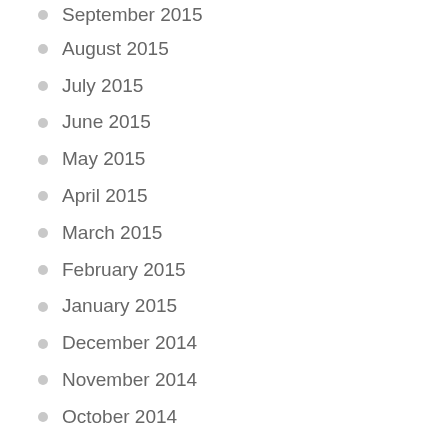September 2015
August 2015
July 2015
June 2015
May 2015
April 2015
March 2015
February 2015
January 2015
December 2014
November 2014
October 2014